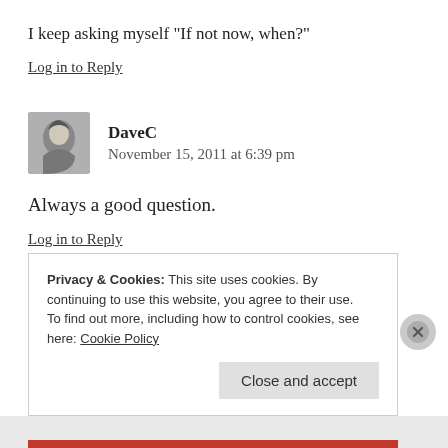I keep asking myself “If not now, when?”
Log in to Reply
DaveC
November 15, 2011 at 6:39 pm
Always a good question.
Log in to Reply
Privacy & Cookies: This site uses cookies. By continuing to use this website, you agree to their use.
To find out more, including how to control cookies, see here: Cookie Policy
Close and accept